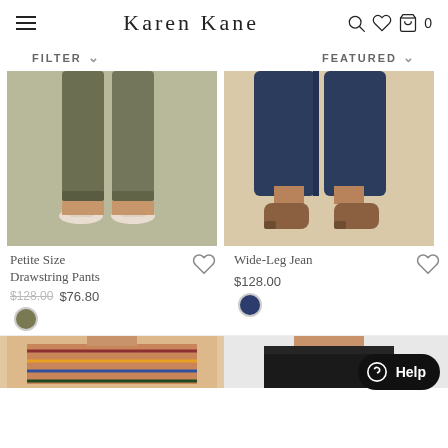Karen Kane — navigation header with hamburger menu, brand name, search, wishlist, and cart icons
FILTER ∨
FEATURED ∨
[Figure (photo): Woman wearing olive green petite drawstring pants with white sandals, bottom half of body shown]
Petite Size Drawstring Pants
$128.00 $76.80
[Figure (photo): Woman wearing wide-leg dark navy jeans with brown ankle boots, bottom half of body shown]
Wide-Leg Jean
$128.00
[Figure (photo): Bottom strip showing partial product images of next row items]
Help